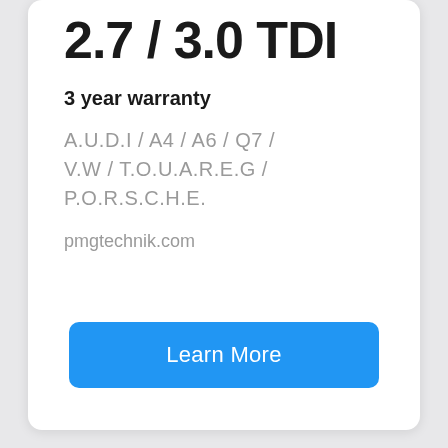2.7 / 3.0 TDI
3 year warranty
A.U.D.I / A4 / A6 / Q7 / V.W / T.O.U.A.R.E.G / P.O.R.S.C.H.E.
pmgtechnik.com
Learn More